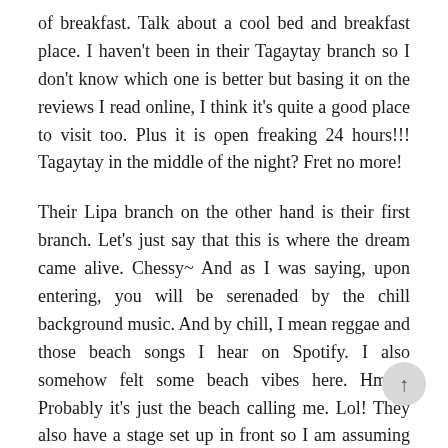of breakfast. Talk about a cool bed and breakfast place. I haven't been in their Tagaytay branch so I don't know which one is better but basing it on the reviews I read online, I think it's quite a good place to visit too. Plus it is open freaking 24 hours!!! Tagaytay in the middle of the night? Fret no more!
Their Lipa branch on the other hand is their first branch. Let's just say that this is where the dream came alive. Chessy~ And as I was saying, upon entering, you will be serenaded by the chill background music. And by chill, I mean reggae and those beach songs I hear on Spotify. I also somehow felt some beach vibes here. Hmm.. Probably it's just the beach calling me. Lol! They also have a stage set up in front so I am assuming they have live bands